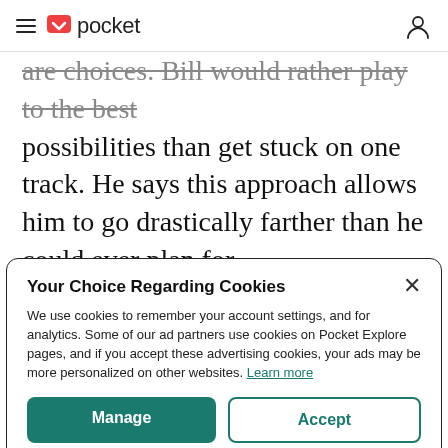pocket
are choices. Bill would rather play to the best possibilities than get stuck on one track. He says this approach allows him to go drastically farther than he could ever plan for.
Your Choice Regarding Cookies
We use cookies to remember your account settings, and for analytics. Some of our ad partners use cookies on Pocket Explore pages, and if you accept these advertising cookies, your ads may be more personalized on other websites. Learn more